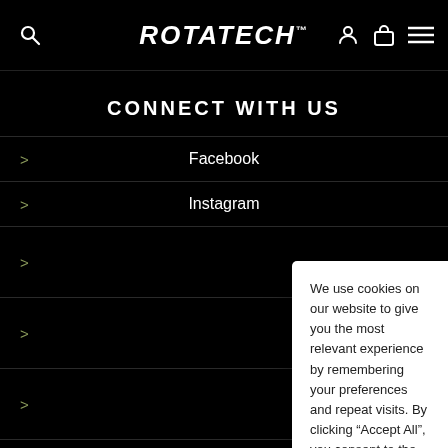ROTATECH
CONNECT WITH US
Facebook
Instagram
[Figure (screenshot): Cookie consent modal dialog with text: 'We use cookies on our website to give you the most relevant experience by remembering your preferences and repeat visits. By clicking "Accept All", you consent to the use of ALL the cookies. However, you may visit "Cookie Settings" to provide a controlled consent.' with two buttons: 'Cookie Settings' and 'Accept All']